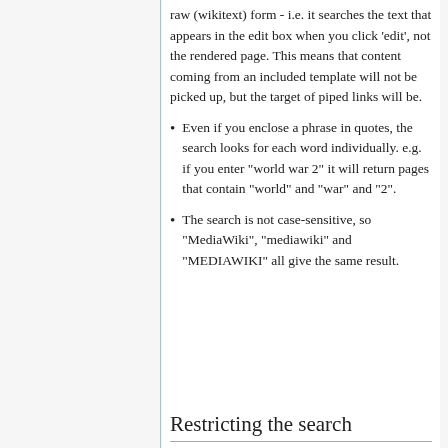raw (wikitext) form - i.e. it searches the text that appears in the edit box when you click 'edit', not the rendered page. This means that content coming from an included template will not be picked up, but the target of piped links will be.
Even if you enclose a phrase in quotes, the search looks for each word individually. e.g. if you enter "world war 2" it will return pages that contain "world" and "war" and "2".
The search is not case-sensitive, so "MediaWiki", "mediawiki" and "MEDIAWIKI" all give the same result.
Restricting the search